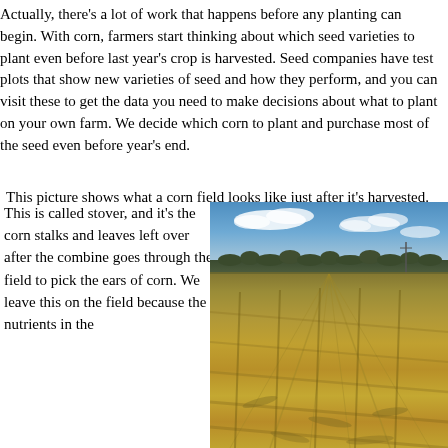Actually, there's a lot of work that happens before any planting can begin.  With corn, farmers start thinking about which seed varieties to plant even before last year's crop is harvested.  Seed companies have test plots that show new varieties of seed and how they perform, and you can visit these to get the data you need to make decisions about what to plant on your own farm.  We decide which corn to plant and purchase most of the seed even before year's end.
This picture shows what a corn field looks like just after it's harvested.
This is called stover, and it's the corn stalks and leaves left over after the combine goes through the field to pick the ears of corn.  We leave this on the field because the nutrients in the
[Figure (photo): A harvested corn field showing corn stover (dried stalks and leaves) covering the field. Blue sky with clouds visible at the top, a treeline in the middle distance, and rows of cut corn stalks and debris covering the foreground field.]